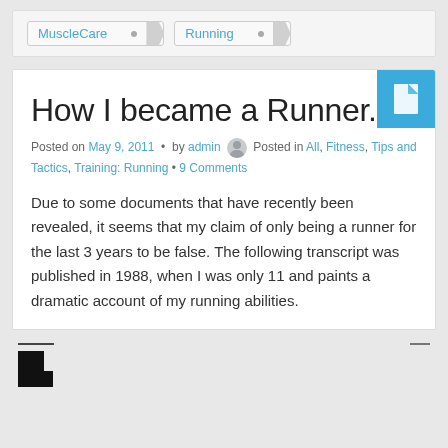MuscleCare  •  Running
How I became a Runner.
Posted on May 9, 2011 • by admin  Posted in All, Fitness, Tips and Tactics, Training: Running • 9 Comments
Due to some documents that have recently been revealed, it seems that my claim of only being a runner for the last 3 years to be false. The following transcript was published in 1988, when I was only 11 and paints a dramatic account of my running abilities.